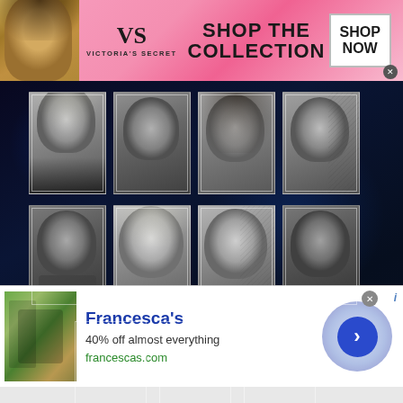[Figure (other): Victoria's Secret banner advertisement with model photo on left, VS logo and brand name in center, 'SHOP THE COLLECTION' text, and 'SHOP NOW' button on pink background]
[Figure (other): Grid of 11 black-and-white portrait photos of WWE wrestlers/personalities arranged in 3 rows on dark blue background]
[Figure (other): Francesca's advertisement with store image on left, brand name in blue, '40% off almost everything' text, francescas.com URL, and circular arrow CTA button]